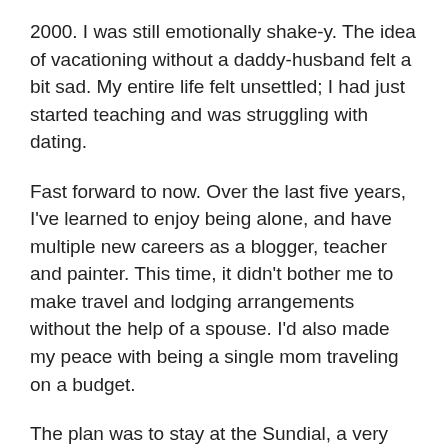2000. I was still emotionally shake-y. The idea of vacationing without a daddy-husband felt a bit sad. My entire life felt unsettled; I had just started teaching and was struggling with dating.
Fast forward to now. Over the last five years, I've learned to enjoy being alone, and have multiple new careers as a blogger, teacher and painter. This time, it didn't bother me to make travel and lodging arrangements without the help of a spouse. I'd also made my peace with being a single mom traveling on a budget.
The plan was to stay at the Sundial, a very nice resort on the island. I booked a one